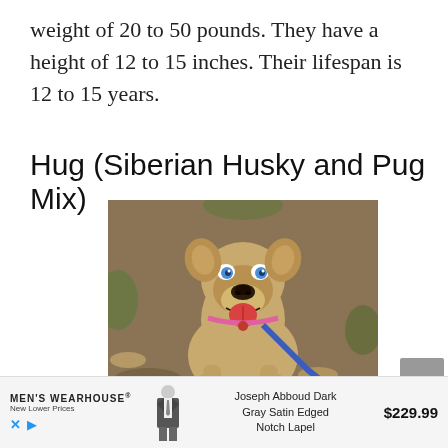weight of 20 to 50 pounds. They have a height of 12 to 15 inches. Their lifespan is 12 to 15 years.
Hug (Siberian Husky and Pug Mix)
[Figure (photo): A tan/fawn mixed breed dog (Hug - Siberian Husky and Pug mix) with blue eyes, sitting on leaves and dirt, wearing a pink collar and blue leash, mouth open and tongue out, looking up at the camera.]
[Figure (advertisement): Men's Wearhouse advertisement showing a man in a suit with text 'Joseph Abboud Dark Gray Satin Edged Notch Lapel' priced at $229.99]